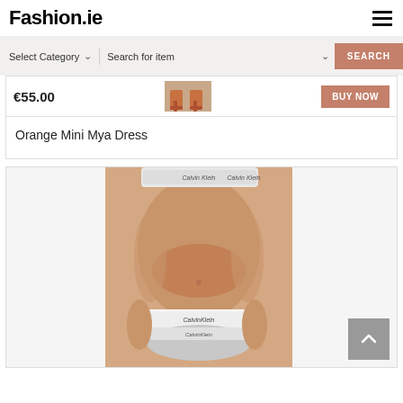Fashion.ie
Select Category   Search for item   SEARCH
€55.00   BUY NOW
Orange Mini Mya Dress
[Figure (photo): Calvin Klein underwear product photo showing a model wearing grey Calvin Klein bra and bikini briefs]